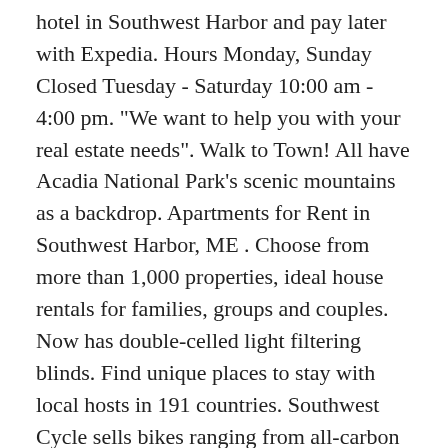hotel in Southwest Harbor and pay later with Expedia. Hours Monday, Sunday Closed Tuesday - Saturday 10:00 am - 4:00 pm. "We want to help you with your real estate needs". Walk to Town! All have Acadia National Park's scenic mountains as a backdrop. Apartments for Rent in Southwest Harbor, ME . Choose from more than 1,000 properties, ideal house rentals for families, groups and couples. Now has double-celled light filtering blinds. Find unique places to stay with local hosts in 191 countries. Southwest Cycle sells bikes ranging from all-carbon road bikes to entry-level recreational bikes, featuring Fuji, Bianchi, Breezer, Soma and more. Enjoy free cancellation on most hotels. Experience Maine hospitality, local flavor, stunning views and lobster! Discover 212 cabins to book online direct from owner in Southwest Harbor, Hancock County. Save big on a wide range of Southwest Harbor hotels! 3 Bedroom 1.5 bath